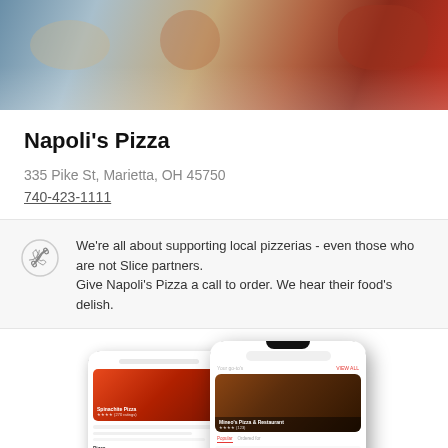[Figure (photo): Hero image of pizza food, blurred warm tones with red bowl and pizza visible]
Napoli's Pizza
335 Pike St, Marietta, OH 45750
740-423-1111
We're all about supporting local pizzerias - even those who are not Slice partners. Give Napoli's Pizza a call to order. We hear their food's delish.
[Figure (screenshot): Two smartphone mockups showing the Slice pizza ordering app interface with food images and restaurant listings]